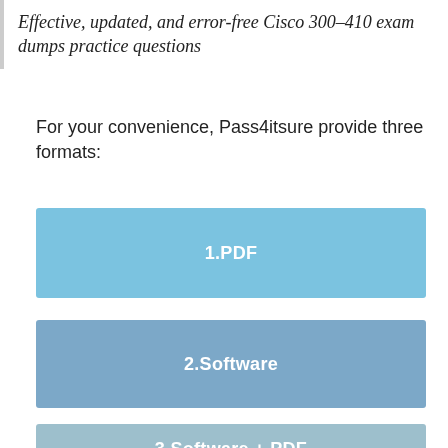Effective, updated, and error-free Cisco 300-410 exam dumps practice questions
For your convenience, Pass4itsure provide three formats:
1.PDF
2.Software
3.Software + PDF